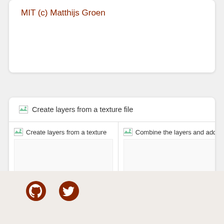MIT (c) Matthijs Groen
[Figure (screenshot): Card showing 'Create layers from a texture file' heading with broken image icon, and below it three tile panels: 'Create layers from a textu...', 'Combine the layers and a...', and a partially visible third tile. Each tile has a broken image placeholder at top.]
Something missing? Edit this app.
[Figure (logo): GitHub and Twitter icons in brown color in the footer area]